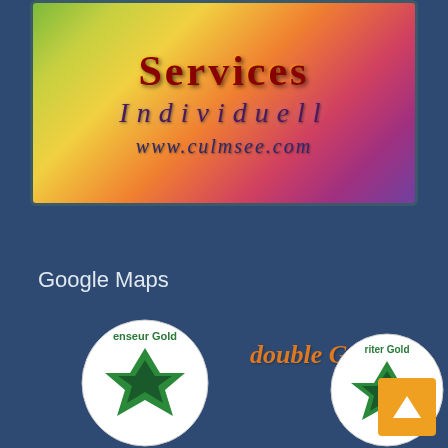[Figure (logo): Colorful gradient logo banner with text 'Services Individuell' and website www.culmsee.com on a rainbow gradient background (green to yellow to orange to red to purple)]
Google Maps
[Figure (logo): Two circular badge logos with green star/arrow designs and 'Gold' text, with 'double Gold' text in orange italic between them. An orange square button with a white upward chevron arrow in the bottom right corner.]